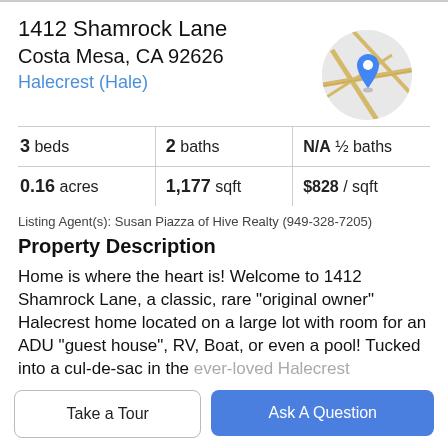1412 Shamrock Lane
Costa Mesa, CA 92626
Halecrest (Hale)
[Figure (map): Circular map thumbnail showing streets with a blue location pin marker]
| 3 beds | 2 baths | N/A ½ baths |
| 0.16 acres | 1,177 sqft | $828 / sqft |
Listing Agent(s): Susan Piazza of Hive Realty (949-328-7205)
Property Description
Home is where the heart is! Welcome to 1412 Shamrock Lane, a classic, rare "original owner" Halecrest home located on a large lot with room for an ADU "guest house", RV, Boat, or even a pool! Tucked into a cul-de-sac in the ever-loved Halecrest community, this home features a